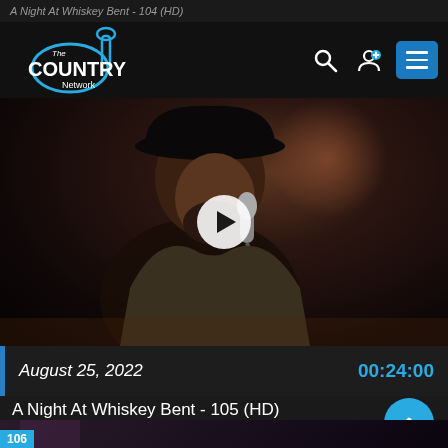A Night At Whiskey Bent - 104 (HD)
[Figure (logo): The Country Network logo - guitar silhouette with cyan outline, white text 'The COUNTRY Network']
[Figure (photo): Video thumbnail showing a male country singer wearing a black cowboy hat, singing into a microphone, with a play button overlay in the center]
August 25, 2022
00:24:00
A Night At Whiskey Bent - 105 (HD)
[Figure (photo): Partial bottom thumbnail showing next episode 106 with a female performer]